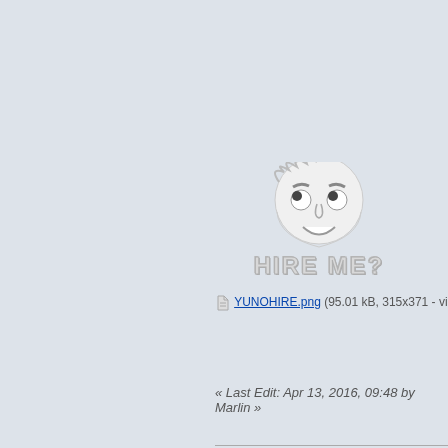[Figure (illustration): Y U NO meme face with 'HIRE ME?' text in large stylized letters below the face]
YUNOHIRE.png (95.01 kB, 315x371 - viewed
« Last Edit: Apr 13, 2016, 09:48 by Marlin »
Site Search | Forum Rules
Fermi2
Guest
Re: Why You Didn't Get the Interview
« Reply #1 on: Aug 08, 2012, 08:35 »
Too bad most of the snowflakes won't read this. Best I've seen anywhere. May I borrow this for my class? Got kids seeking employment in the big post college world.
Also:
"If I get a call on my mobile immediately after you have 'just came through', you might as well just have left."
CLASSIC!!!! LMAO!